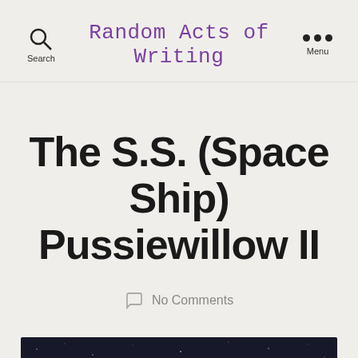Search | Random Acts of Writing | Menu
The S.S. (Space Ship) Pussiewillow II
No Comments
[Figure (photo): Dark space-themed image with constellation or star map lines and nodes visible against a very dark background]